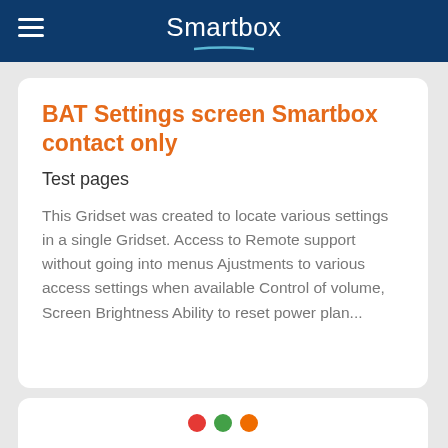Smartbox
BAT Settings screen Smartbox contact only
Test pages
This Gridset was created to locate various settings in a single Gridset. Access to Remote support without going into menus Ajustments to various access settings when available Control of volume, Screen Brightness Ability to reset power plan...